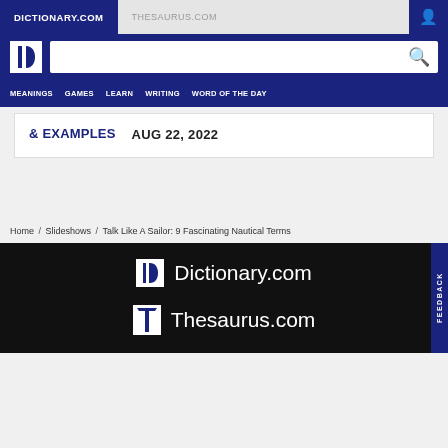DICTIONARY.COM | THESAURUS.COM
[Figure (logo): Dictionary.com logo with D icon and search bar]
MEANINGS | GAMES | LEARN | WRITING | WORD OF THE DAY
& EXAMPLES | AUG 22, 2022
Home / Slideshows / Talk Like A Sailor: 9 Fascinating Nautical Terms
[Figure (logo): Dictionary.com footer logo]
[Figure (logo): Thesaurus.com footer logo]